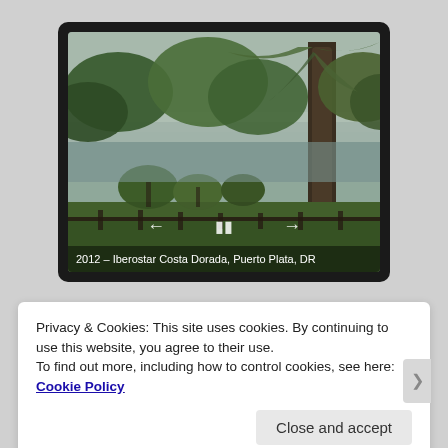[Figure (photo): A slideshow/media player displaying a tropical scene with palm trees, lush green vegetation, a wooden fence, and a body of water in the background on an overcast day. Controls (back, pause, forward) are visible. Caption reads: 2012 – Iberostar Costa Dorada, Puerto Plata, DR]
2012 – Iberostar Costa Dorada, Puerto Plata, DR
Privacy & Cookies: This site uses cookies. By continuing to use this website, you agree to their use.
To find out more, including how to control cookies, see here: Cookie Policy